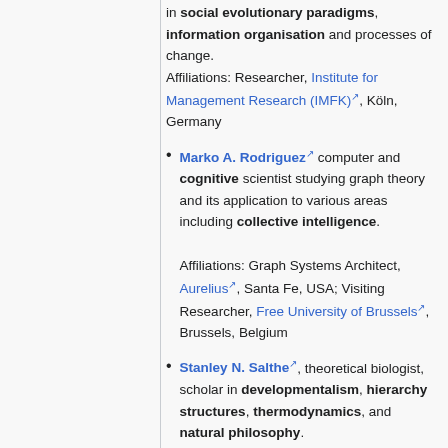in social evolutionary paradigms, information organisation and processes of change. Affiliations: Researcher, Institute for Management Research (IMFK), Köln, Germany
Marko A. Rodriguez computer and cognitive scientist studying graph theory and its application to various areas including collective intelligence. Affiliations: Graph Systems Architect, Aurelius, Santa Fe, USA; Visiting Researcher, Free University of Brussels, Brussels, Belgium
Stanley N. Salthe, theoretical biologist, scholar in developmentalism, hierarchy structures, thermodynamics, and natural philosophy.